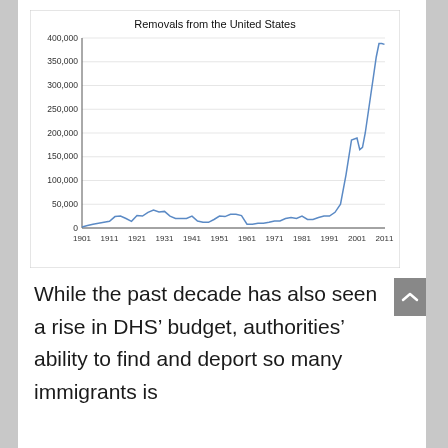[Figure (line-chart): Removals from the United States]
While the past decade has also seen a rise in DHS’ budget, authorities’ ability to find and deport so many immigrants is